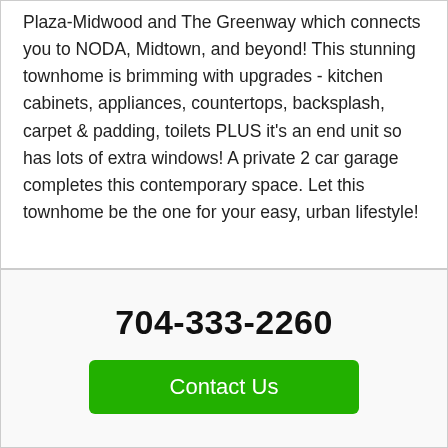Plaza-Midwood and The Greenway which connects you to NODA, Midtown, and beyond! This stunning townhome is brimming with upgrades - kitchen cabinets, appliances, countertops, backsplash, carpet & padding, toilets PLUS it's an end unit so has lots of extra windows! A private 2 car garage completes this contemporary space. Let this townhome be the one for your easy, urban lifestyle!
704-333-2260
Contact Us